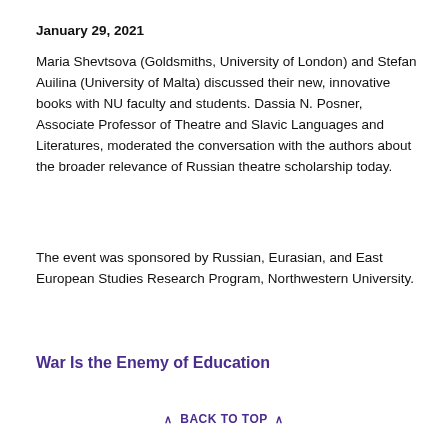January 29, 2021
Maria Shevtsova (Goldsmiths, University of London) and Stefan Auilina (University of Malta) discussed their new, innovative books with NU faculty and students. Dassia N. Posner, Associate Professor of Theatre and Slavic Languages and Literatures, moderated the conversation with the authors about the broader relevance of Russian theatre scholarship today.
The event was sponsored by Russian, Eurasian, and East European Studies Research Program, Northwestern University.
War Is the Enemy of Education
BACK TO TOP